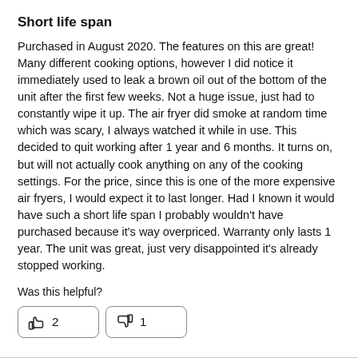Short life span
Purchased in August 2020. The features on this are great! Many different cooking options, however I did notice it immediately used to leak a brown oil out of the bottom of the unit after the first few weeks. Not a huge issue, just had to constantly wipe it up. The air fryer did smoke at random time which was scary, I always watched it while in use. This decided to quit working after 1 year and 6 months. It turns on, but will not actually cook anything on any of the cooking settings. For the price, since this is one of the more expensive air fryers, I would expect it to last longer. Had I known it would have such a short life span I probably wouldn't have purchased because it's way overpriced. Warranty only lasts 1 year. The unit was great, just very disappointed it's already stopped working.
Was this helpful?
[Figure (other): Two voting buttons: thumbs up with count 2, thumbs down with count 1]